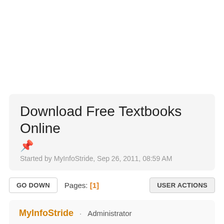Download Free Textbooks Online
📌 Started by MyInfoStride, Sep 26, 2011, 08:59 AM
GO DOWN  Pages: [1]  USER ACTIONS
MyInfoStride · Administrator
Sep 26, 2011, 08:59 AM